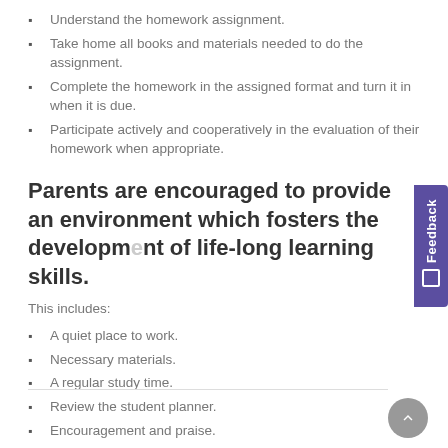Understand the homework assignment.
Take home all books and materials needed to do the assignment.
Complete the homework in the assigned format and turn it in when it is due.
Participate actively and cooperatively in the evaluation of their homework when appropriate.
Parents are encouraged to provide an environment which fosters the development of life-long learning skills.
This includes:
A quiet place to work.
Necessary materials.
A regular study time.
Review the student planner.
Encouragement and praise.